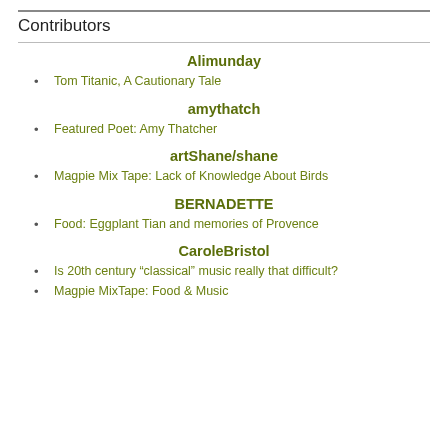Contributors
Alimunday
Tom Titanic, A Cautionary Tale
amythatch
Featured Poet: Amy Thatcher
artShane/shane
Magpie Mix Tape: Lack of Knowledge About Birds
BERNADETTE
Food: Eggplant Tian and memories of Provence
CaroleBristol
Is 20th century “classical” music really that difficult?
Magpie MixTape: Food & Music